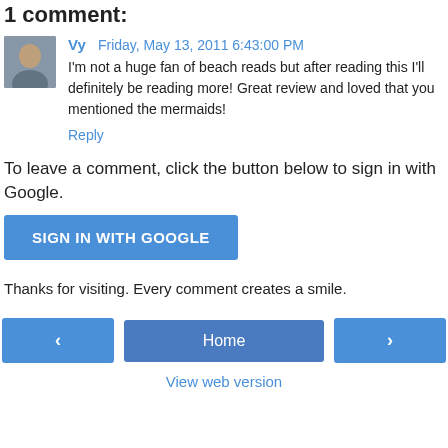1 comment:
Vy  Friday, May 13, 2011 6:43:00 PM
I'm not a huge fan of beach reads but after reading this I'll definitely be reading more! Great review and loved that you mentioned the mermaids!
Reply
To leave a comment, click the button below to sign in with Google.
SIGN IN WITH GOOGLE
Thanks for visiting. Every comment creates a smile.
‹  Home  ›
View web version